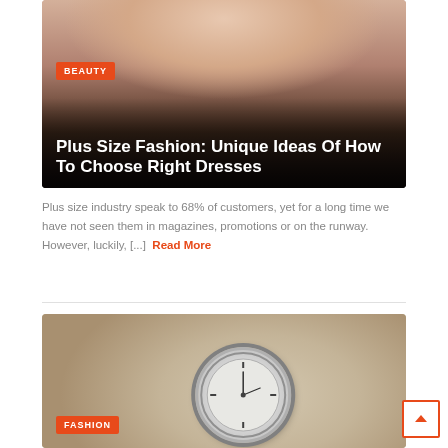[Figure (photo): Two women facing each other outdoors with sunset/water background, used as hero image for beauty article]
Plus Size Fashion: Unique Ideas Of How To Choose Right Dresses
Plus size industry speak to 68% of customers, yet for a long time we have not seen them in magazines, promotions or on the runway. However, luckily, [...] Read More
[Figure (photo): Close-up of a luxury silver wristwatch on a wrist resting on beige/tan fabric, hero image for fashion article]